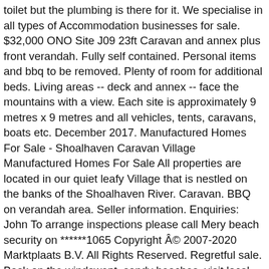toilet but the plumbing is there for it. We specialise in all types of Accommodation businesses for sale. $32,000 ONO Site J09 23ft Caravan and annex plus front verandah. Fully self contained. Personal items and bbq to be removed. Plenty of room for additional beds. Living areas -- deck and annex -- face the mountains with a view. Each site is approximately 9 metres x 9 metres and all vehicles, tents, caravans, boats etc. December 2017. Manufactured Homes For Sale - Shoalhaven Caravan Village Manufactured Homes For Sale All properties are located in our quiet leafy Village that is nestled on the banks of the Shoalhaven River. Caravan. BBQ on verandah area. Seller information. Enquiries: John To arrange inspections please call Mery beach security on ******1065 Copyright Â© 2007-2020 Marktplaats B.V. All Rights Reserved. Regretful sale. Bask on the windswept, sandy beaches, visit local wineries or enjoy fishing on the beautiful Shoalhaven River. Must sell in December. Powered sites for caravans are in a pleasant setting beside a creek. See More. Seller: gold.snake.no1 (733) 100%. New electric hot water system. Gas instant hot water system. New air conditioner. The park is clean and